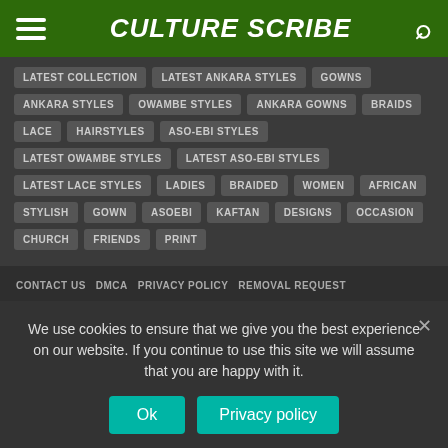CULTURE SCRIBE
LATEST COLLECTION
LATEST ANKARA STYLES
GOWNS
ANKARA STYLES
OWAMBE STYLES
ANKARA GOWNS
BRAIDS
LACE
HAIRSTYLES
ASO-EBI STYLES
LATEST OWAMBE STYLES
LATEST ASO-EBI STYLES
LATEST LACE STYLES
LADIES
BRAIDED
WOMEN
AFRICAN
STYLISH
GOWN
ASOEBI
KAFTAN
DESIGNS
OCCASION
CHURCH
FRIENDS
PRINT
CONTACT US  DMCA  PRIVACY POLICY  REMOVAL REQUEST
We use cookies to ensure that we give you the best experience on our website. If you continue to use this site we will assume that you are happy with it.